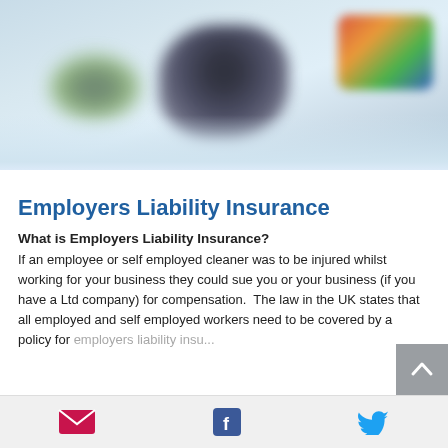[Figure (photo): Blurred photo of cleaning equipment (mop/bucket) with colourful logo in background, light blue/green tones]
Employers Liability Insurance
What is Employers Liability Insurance?
If an employee or self employed cleaner was to be injured whilst working for your business they could sue you or your business (if you have a Ltd company) for compensation.  The law in the UK states that all employed and self employed workers need to be covered by a policy for employers liability insurance. If you do not
Email | Facebook | Twitter social share icons